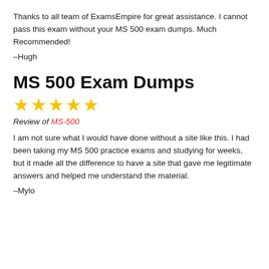Thanks to all team of ExamsEmpire for great assistance. I cannot pass this exam without your MS 500 exam dumps. Much Recommended!
–Hugh
MS 500 Exam Dumps
[Figure (other): Five gold star rating icons]
Review of MS-500
I am not sure what I would have done without a site like this. I had been taking my MS 500 practice exams and studying for weeks, but it made all the difference to have a site that gave me legitimate answers and helped me understand the material.
–Mylo